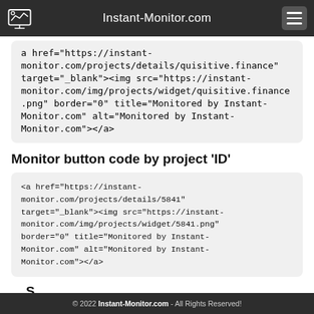Instant-Monitor.com
a href="https://instant-monitor.com/projects/details/quisitive.finance" target="_blank"><img src="https://instant-monitor.com/img/projects/widget/quisitive.finance.png" border="0" title="Monitored by Instant-Monitor.com" alt="Monitored by Instant-Monitor.com"></a>
Monitor button code by project 'ID'
<a href="https://instant-monitor.com/projects/details/5841" target="_blank"><img src="https://instant-monitor.com/img/projects/widget/5841.png" border="0" title="Monitored by Instant-Monitor.com" alt="Monitored by Instant-Monitor.com"></a>
© 2022 Instant-Monitor.com - All Rights Reserved!